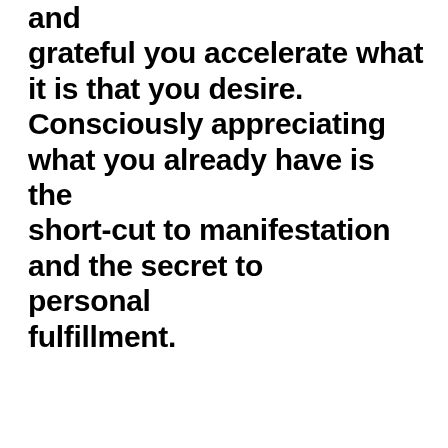and grateful you accelerate what it is that you desire. Consciously appreciating what you already have is the short-cut to manifestation and the secret to personal fulfillment.